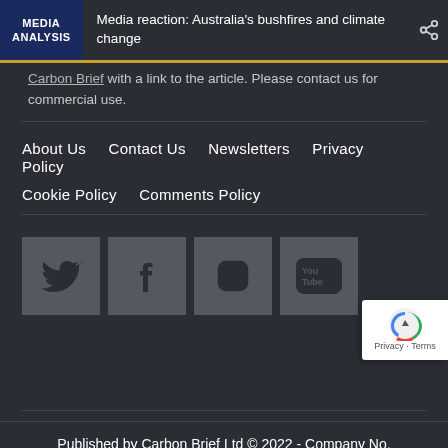MEDIA ANALYSIS | Media reaction: Australia's bushfires and climate change
Carbon Brief with a link to the article. Please contact us for commercial use.
About Us   Contact Us   Newsletters   Privacy Policy   Cookie Policy   Comments Policy
[Figure (infographic): Social media icons: Twitter, Facebook, Instagram, YouTube]
[Figure (logo): reCAPTCHA badge with Privacy and Terms links]
Published by Carbon Brief Ltd © 2022 - Company No. 07222041